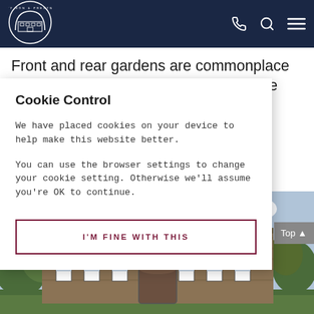[Figure (logo): Petty Son & Prestwich circular logo with building illustration on dark navy header]
Front and rear gardens are commonplace with detached houses, and some will be situated on even greater swathes of land... however, they will be different... ent...
Cookie Control
We have placed cookies on your device to help make this website better.
You can use the browser settings to change your cookie setting. Otherwise we'll assume you're OK to continue.
I'M FINE WITH THIS
[Figure (photo): Large stone Georgian country house/mansion with multiple windows and green trees, photographed from front]
Top